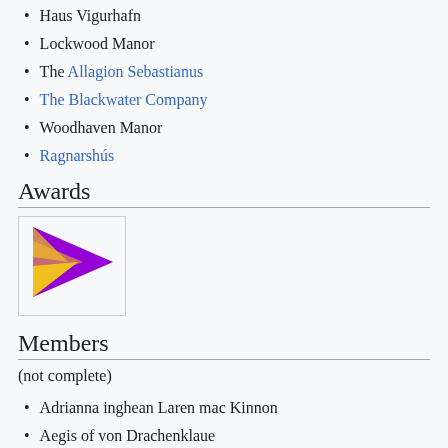Haus Vigurhafn
Lockwood Manor
The Allagion Sebastianus
The Blackwater Company
Woodhaven Manor
Ragnarshús
Awards
[Figure (illustration): A pennant/flag shape in purple and yellow/gold colors, pointing right]
Members
(not complete)
Adrianna inghean Laren mac Kinnon
Aegis of von Drachenklaue
Aelfgifa of the Hazel Thicket -aka- Shiro (P)